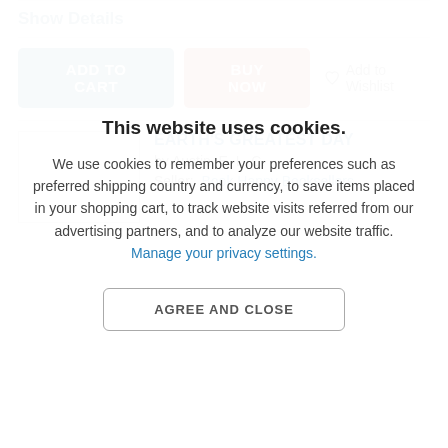Show Details
ADD TO CART | BUY NOW | Add to Wishlist
EARTH'S GREATEST DAY
by Austin, E. L. C.
Seller: Book Happy Booksellers
This website uses cookies.
We use cookies to remember your preferences such as preferred shipping country and currency, to save items placed in your shopping cart, to track website visits referred from our advertising partners, and to analyze our website traffic. Manage your privacy settings.
AGREE AND CLOSE